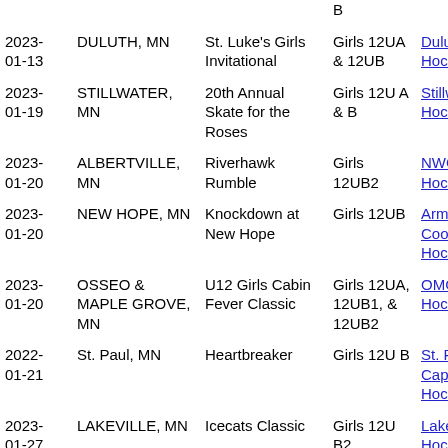| Date | City | Tournament | Division | Organization |
| --- | --- | --- | --- | --- |
|  |  |  | B |  |
| 2023-01-13 | DULUTH, MN | St. Luke's Girls Invitational | Girls 12UA & 12UB | Duluth Hockey |
| 2023-01-19 | STILLWATER, MN | 20th Annual Skate for the Roses | Girls 12U A & B | Stillwater Hockey |
| 2023-01-20 | ALBERTVILLE, MN | Riverhawk Rumble | Girls 12UB2 | NWC Hockey |
| 2023-01-20 | NEW HOPE, MN | Knockdown at New Hope | Girls 12UB | Armstrong Cooper Hockey |
| 2023-01-20 | OSSEO & MAPLE GROVE, MN | U12 Girls Cabin Fever Classic | Girls 12UA, 12UB1, & 12UB2 | OMG Hockey |
| 2022-01-21 | St. Paul, MN | Heartbreaker | Girls 12U B | St. Paul Capitals Hockey |
| 2023-01-27 | LAKEVILLE, MN | Icecats Classic | Girls 12U B2 | Lakeville Hockey |
| 2023- | THIEF RIVER | Thief River | Girls 12UA & | Thief River |